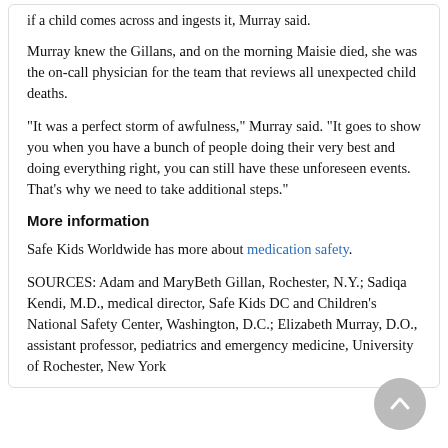if a child comes across and ingests it, Murray said.
Murray knew the Gillans, and on the morning Maisie died, she was the on-call physician for the team that reviews all unexpected child deaths.
"It was a perfect storm of awfulness," Murray said. "It goes to show you when you have a bunch of people doing their very best and doing everything right, you can still have these unforeseen events. That's why we need to take additional steps."
More information
Safe Kids Worldwide has more about medication safety.
SOURCES: Adam and MaryBeth Gillan, Rochester, N.Y.; Sadiqa Kendi, M.D., medical director, Safe Kids DC and Children's National Safety Center, Washington, D.C.; Elizabeth Murray, D.O., assistant professor, pediatrics and emergency medicine, University of Rochester, New York